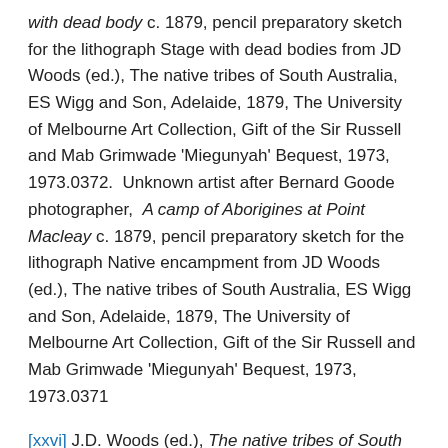with dead body c. 1879, pencil preparatory sketch for the lithograph Stage with dead bodies from JD Woods (ed.), The native tribes of South Australia, ES Wigg and Son, Adelaide, 1879, The University of Melbourne Art Collection, Gift of the Sir Russell and Mab Grimwade 'Miegunyah' Bequest, 1973,  1973.0372.  Unknown artist after Bernard Goode photographer,  A camp of Aborigines at Point Macleay c. 1879, pencil preparatory sketch for the lithograph Native encampment from JD Woods (ed.), The native tribes of South Australia, ES Wigg and Son, Adelaide, 1879, The University of Melbourne Art Collection, Gift of the Sir Russell and Mab Grimwade 'Miegunyah' Bequest, 1973, 1973.0371
[xxvi] J.D. Woods (ed.), The native tribes of South Australia, Adelaide: E.S. Wigg and Son, 1879.